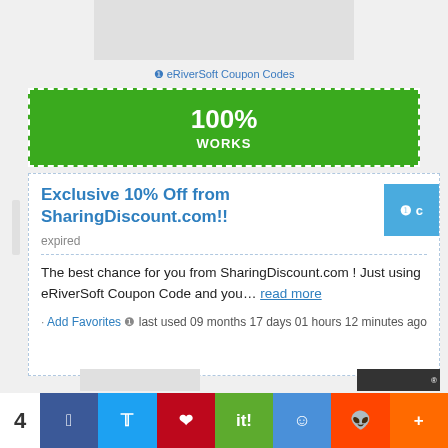[Figure (other): Gray placeholder image at the top]
❶ eRiverSoft Coupon Codes
100% WORKS
Exclusive 10% Off from SharingDiscount.com!!
expired
The best chance for you from SharingDiscount.com ! Just using eRiverSoft Coupon Code and you… read more
Add Favorites ❶ last used 09 months 17 days 01 hours 12 minutes ago
[Figure (other): Social sharing bar at the bottom with Facebook, Twitter, Pinterest, share buttons and number 4]